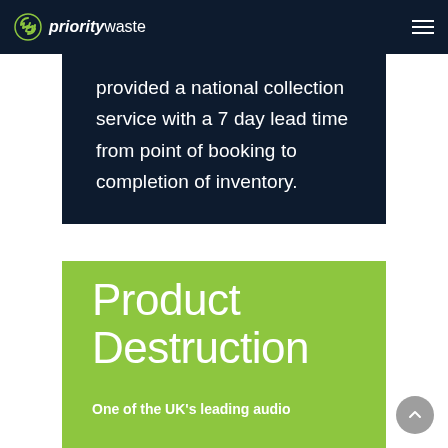priority waste
provided a national collection service with a 7 day lead time from point of booking to completion of inventory.
Product Destruction
One of the UK's leading audio manufacturers received a